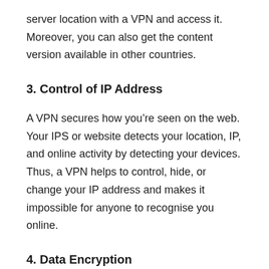server location with a VPN and access it. Moreover, you can also get the content version available in other countries.
3. Control of IP Address
A VPN secures how you’re seen on the web. Your IPS or website detects your location, IP, and online activity by detecting your devices. Thus, a VPN helps to control, hide, or change your IP address and makes it impossible for anyone to recognise you online.
4. Data Encryption
Unlike Tor, it only encrypts network data while utilising the browser. At the same time, a VPN can encrypt all the traffic coming from your computer or other device and provide extra security.